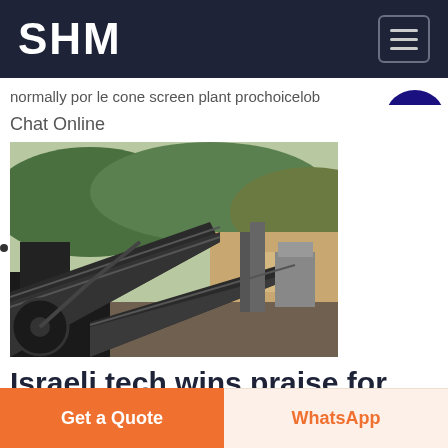SHM
normally por le cone screen plant prochoicelob
Chat Online
[Figure (photo): Industrial mining conveyor belt and screening plant equipment with rocky terrain in the background]
Israeli tech wins praise for saving hundreds of Dominican
Get a Quote
WhatsApp